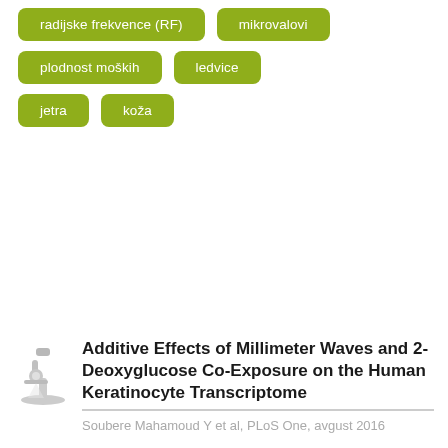radijske frekvence (RF)
mikrovalovi
plodnost moških
ledvice
jetra
koža
Additive Effects of Millimeter Waves and 2-Deoxyglucose Co-Exposure on the Human Keratinocyte Transcriptome
Soubere Mahamoud Y et al, PLoS One, avgust 2016
"The MMW/2dG co-treatment did not alter the keratinocyte ATP content, but it did slightly alter the transcriptome, which affected the quantity of MMW-treated f